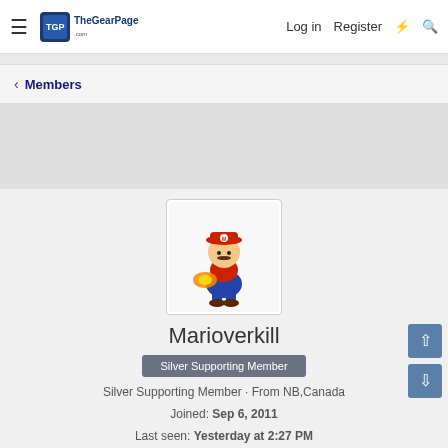The Gear Page — Log in  Register
< Members
[Figure (screenshot): Super Mario character with fire power-up avatar image]
Marioverkill
Silver Supporting Member
Silver Supporting Member · From NB,Canada
Joined: Sep 6, 2011
Last seen: Yesterday at 2:27 PM